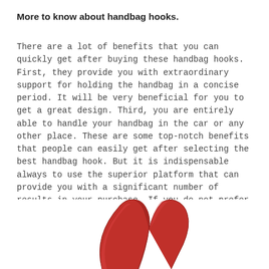More to know about handbag hooks.
There are a lot of benefits that you can quickly get after buying these handbag hooks. First, they provide you with extraordinary support for holding the handbag in a concise period. It will be very beneficial for you to get a great design. Third, you are entirely able to handle your handbag in the car or any other place. These are some top-notch benefits that people can easily get after selecting the best handbag hook. But it is indispensable always to use the superior platform that can provide you with a significant number of results in your purchase. If you do not prefer the superior platform, then you will have to face a great number of difficulties.
[Figure (photo): Bottom portion of a red leather handbag showing the curved handles/straps emerging from the bottom of the frame]